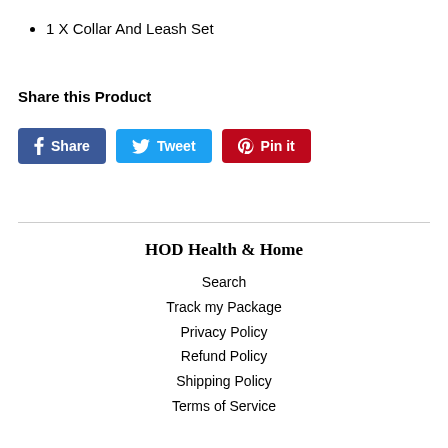1 X Collar And Leash Set
Share this Product
Share | Tweet | Pin it
HOD Health & Home
Search
Track my Package
Privacy Policy
Refund Policy
Shipping Policy
Terms of Service